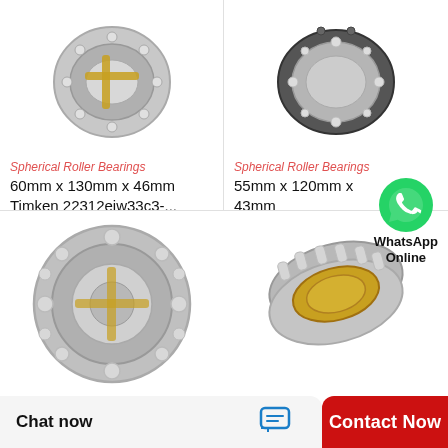[Figure (photo): Spherical roller bearing, silver/gold colored, viewed at angle showing internal rollers and cage]
Spherical Roller Bearings
60mm x 130mm x 46mm Timken 22312ejw33c3-...
[Figure (photo): Spherical roller bearing with dark outer ring and silver inner components, viewed from side]
Spherical Roller Bearings
55mm x 120mm x 43mm Timken…
[Figure (photo): WhatsApp logo green circle with phone handset icon]
WhatsApp Online
[Figure (photo): Large spherical roller bearing, silver with gold cage, viewed from front showing full ring]
[Figure (photo): Partial spherical roller bearing, silver/gold, viewed from side angle]
Chat now
Contact Now